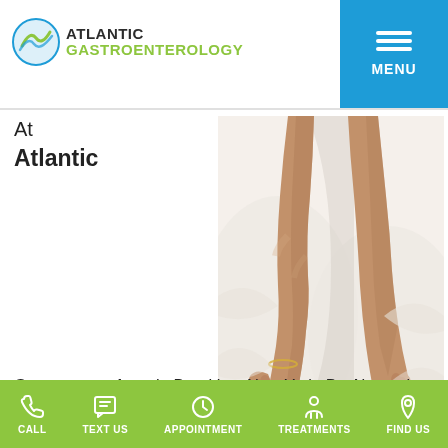Atlantic Gastroenterology — MENU
At
Atlantic
[Figure (photo): Close-up photo of a person's bare feet and lower legs resting on white bedding/sheets, viewed from above.]
Gastroenterology in Brooklyn, New York, Dr. Alexander
CALL | TEXT US | APPOINTMENT | TREATMENTS | FIND US